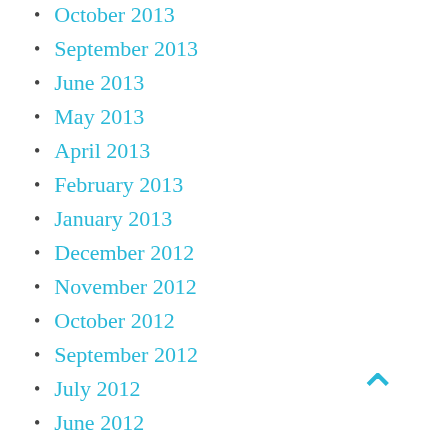October 2013
September 2013
June 2013
May 2013
April 2013
February 2013
January 2013
December 2012
November 2012
October 2012
September 2012
July 2012
June 2012
May 2012